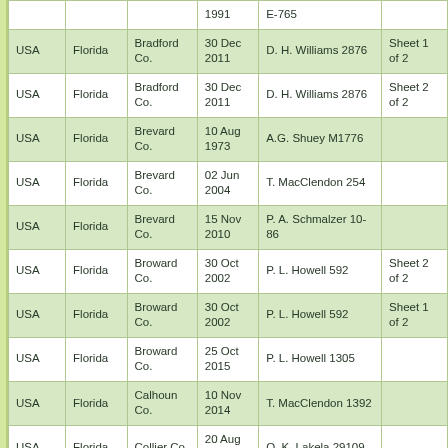| Country | State | County | Date | Collector | Sheet |
| --- | --- | --- | --- | --- | --- |
|  |  |  | 1991 | E-765 |  |
| USA | Florida | Bradford Co. | 30 Dec 2011 | D. H. Williams 2876 | Sheet 1 of 2 |
| USA | Florida | Bradford Co. | 30 Dec 2011 | D. H. Williams 2876 | Sheet 2 of 2 |
| USA | Florida | Brevard Co. | 10 Aug 1973 | A.G. Shuey M1776 |  |
| USA | Florida | Brevard Co. | 02 Jun 2004 | T. MacClendon 254 |  |
| USA | Florida | Brevard Co. | 15 Nov 2010 | P. A. Schmalzer 10-86 |  |
| USA | Florida | Broward Co. | 30 Oct 2002 | P. L. Howell 592 | Sheet 2 of 2 |
| USA | Florida | Broward Co. | 30 Oct 2002 | P. L. Howell 592 | Sheet 1 of 2 |
| USA | Florida | Broward Co. | 25 Oct 2015 | P. L. Howell 1305 |  |
| USA | Florida | Calhoun Co. | 10 Nov 2014 | T. MacClendon 1392 |  |
| USA | Florida | Collier Co. | 20 Aug 1965 | O. K. Lakela 29109 |  |